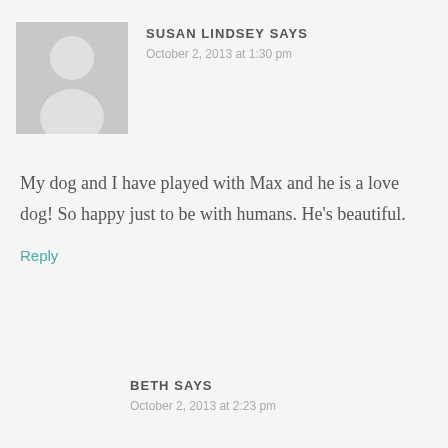[Figure (illustration): Generic gray user avatar silhouette placeholder image]
SUSAN LINDSEY SAYS
October 2, 2013 at 1:30 pm
My dog and I have played with Max and he is a love dog! So happy just to be with humans. He’s beautiful.
Reply
BETH SAYS
October 2, 2013 at 2:23 pm